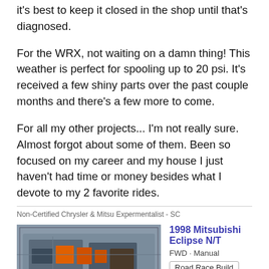it's best to keep it closed in the shop until that's diagnosed.
For the WRX, not waiting on a damn thing! This weather is perfect for spooling up to 20 psi. It's received a few shiny parts over the past couple months and there's a few more to come.
For all my other projects... I'm not really sure. Almost forgot about some of them. Been so focused on my career and my house I just haven't had time or money besides what I devote to my 2 favorite rides.
Non-Certified Chrysler & Mitsu Expermentalist - SC
[Figure (photo): Engine bay photo of a Mitsubishi Eclipse]
1998 Mitsubishi Eclipse N/T
FWD · Manual
Road Race Build
[Figure (photo): Partial photo of a Honda Prelude]
1993 Honda Prelude Si 4WS